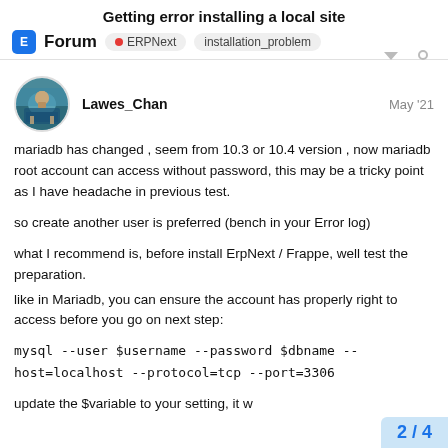Getting error installing a local site
Forum  ERPNext  installation_problem
Lawes_Chan  May '21
mariadb has changed , seem from 10.3 or 10.4 version , now mariadb root account can access without password, this may be a tricky point as I have headache in previous test.

so create another user is preferred (bench in your Error log)

what I recommend is, before install ErpNext / Frappe, well test the preparation.
like in Mariadb, you can ensure the account has properly right to access before you go on next step:

mysql --user $username --password $dbname --host=localhost --protocol=tcp --port=3306

update the $variable to your setting, it w
2 / 4